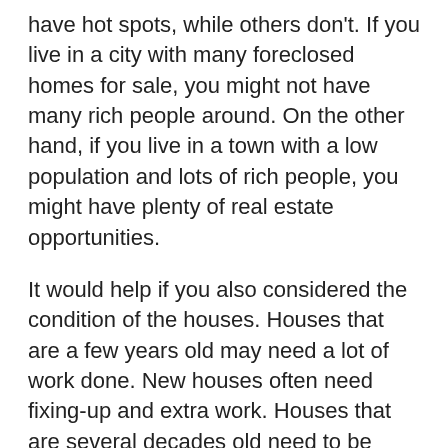have hot spots, while others don't. If you live in a city with many foreclosed homes for sale, you might not have many rich people around. On the other hand, if you live in a town with a low population and lots of rich people, you might have plenty of real estate opportunities.
It would help if you also considered the condition of the houses. Houses that are a few years old may need a lot of work done. New houses often need fixing-up and extra work. Houses that are several decades old need to be carefully inspected before you decide to buy them at a real estate sale. Be sure to ask about these issues before signing any contracts.
When you consider buying real estate through the homes for sale by the owner, keep these tips in mind. Homes can be a great investment if you invest in one in a good neighborhood. The neighborhood will